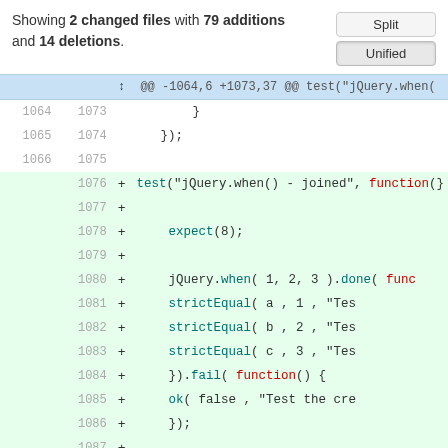Showing 2 changed files with 79 additions and 14 deletions.
[Figure (screenshot): Git diff view showing added lines 1076-1088 with code for jQuery.when() - joined test function]
| old line | new line | sign | code |
| --- | --- | --- | --- |
|  |  |  | @@ -1064,6 +1073,37 @@ test("jQuery.when( |
| 1064 | 1073 |  | } |
| 1065 | 1074 |  | }); |
| 1066 | 1075 |  |  |
|  | 1076 | + | test("jQuery.when() - joined", function(} |
|  | 1077 | + |  |
|  | 1078 | + |         expect(8); |
|  | 1079 | + |  |
|  | 1080 | + |         jQuery.when( 1, 2, 3 ).done( func |
|  | 1081 | + |                 strictEqual( a , 1 , "Tes |
|  | 1082 | + |                 strictEqual( b , 2 , "Tes |
|  | 1083 | + |                 strictEqual( c , 3 , "Tes |
|  | 1084 | + |         }).fail( function() { |
|  | 1085 | + |                 ok( false , "Test the cre |
|  | 1086 | + |         }); |
|  | 1087 | + |  |
|  | 1088 | + |         var successDeferred = jQuery.Defe |